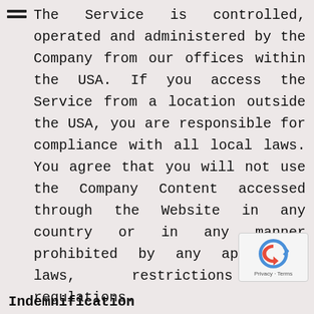The Service is controlled, operated and administered by the Company from our offices within the USA. If you access the Service from a location outside the USA, you are responsible for compliance with all local laws. You agree that you will not use the Company Content accessed through the Website in any country or in any manner prohibited by any applicable laws, restrictions or regulations.
Indemnification